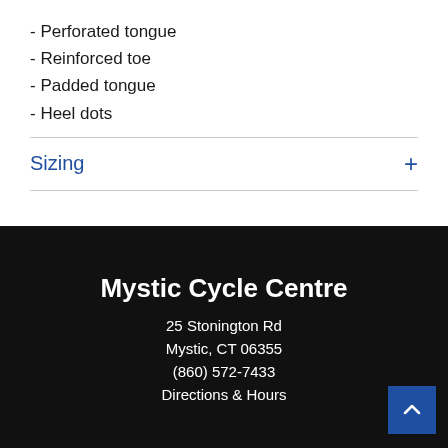- Perforated tongue
- Reinforced toe
- Padded tongue
- Heel dots
Sizing
Mystic Cycle Centre
25 Stonington Rd
Mystic, CT 06355
(860) 572-7433
Directions & Hours